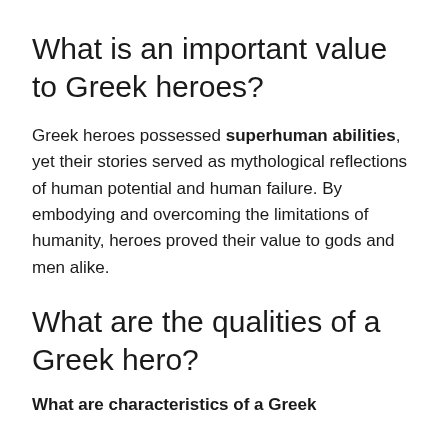What is an important value to Greek heroes?
Greek heroes possessed superhuman abilities, yet their stories served as mythological reflections of human potential and human failure. By embodying and overcoming the limitations of humanity, heroes proved their value to gods and men alike.
What are the qualities of a Greek hero?
What are characteristics of a Greek